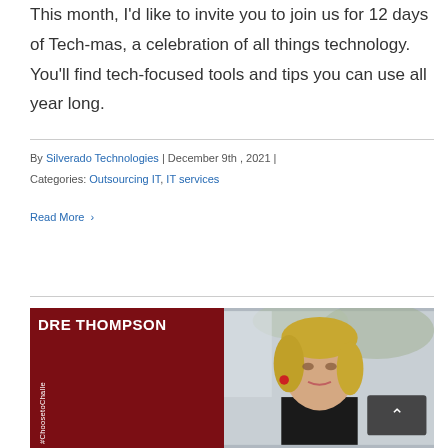This month, I'd like to invite you to join us for 12 days of Tech-mas, a celebration of all things technology. You'll find tech-focused tools and tips you can use all year long.
By Silverado Technologies | December 9th , 2021 | Categories: Outsourcing IT, IT services
Read More ›
[Figure (photo): Promotional image for Dre Thompson with dark red left panel showing name 'DRE THOMPSON' in bold white text and '#ChoosetoChalle...' hashtag vertically, and right panel showing a woman with blonde hair wearing a black top with red earrings, with a scroll-to-top button overlay.]